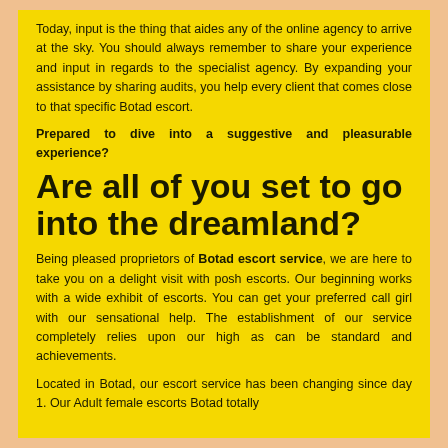Today, input is the thing that aides any of the online agency to arrive at the sky. You should always remember to share your experience and input in regards to the specialist agency. By expanding your assistance by sharing audits, you help every client that comes close to that specific Botad escort.
Prepared to dive into a suggestive and pleasurable experience?
Are all of you set to go into the dreamland?
Being pleased proprietors of Botad escort service, we are here to take you on a delight visit with posh escorts. Our beginning works with a wide exhibit of escorts. You can get your preferred call girl with our sensational help. The establishment of our service completely relies upon our high as can be standard and achievements.
Located in Botad, our escort service has been changing since day 1. Our Adult female escorts Botad totally